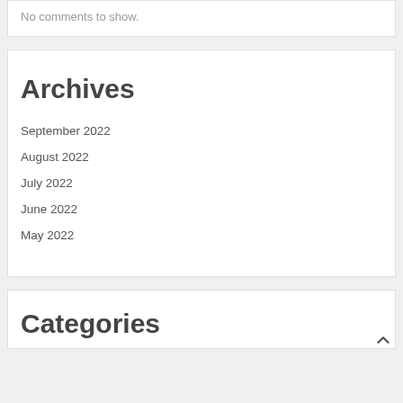No comments to show.
Archives
September 2022
August 2022
July 2022
June 2022
May 2022
Categories